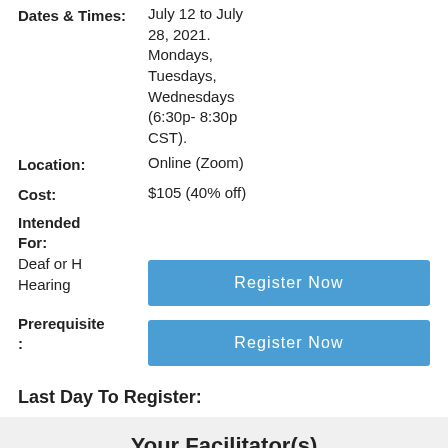Dates & Times: July 12 to July 28, 2021. Mondays, Tuesdays, Wednesdays (6:30p- 8:30p CST).
Location: Online (Zoom)
Cost: $105 (40% off)
Intended For:
Deaf or Hard of Hearing
Register Now
Prerequisite:
Register Now
Last Day To Register:
June 30, 2021
Can't make it? Let us ...
Your Facilitator(s)